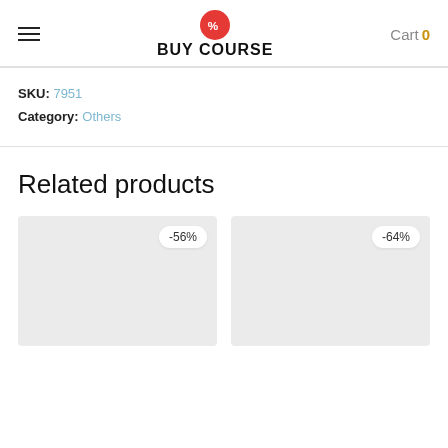BUY COURSE — Cart 0
SKU: 7951
Category: Others
Related products
[Figure (other): Product card with -56% discount badge, light grey placeholder image]
[Figure (other): Product card with -64% discount badge, light grey placeholder image]